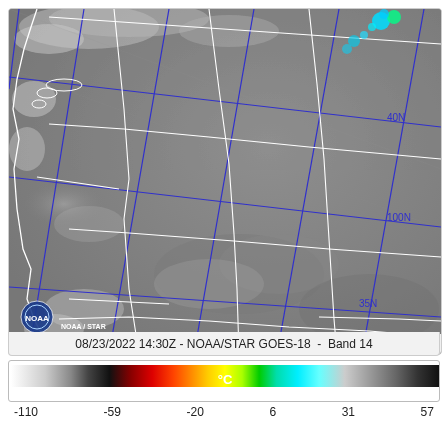[Figure (other): GOES-18 Band 14 infrared satellite image of western United States dated 08/23/2022 14:30Z. Shows grayscale infrared imagery with white state/geographic boundary lines and blue latitude/longitude grid lines labeled 40N, 100N, 35N, 25N, 110W, 105W, 125W. Small colored (cyan/green) storm features visible in upper right. NOAA STAR logo in lower left corner.]
08/23/2022 14:30Z - NOAA/STAR GOES-18  -  Band 14
[Figure (other): Temperature color scale bar in degrees Celsius ranging from -110 to 57. Colors transition from white/gray on left through black, red, orange, yellow, green, cyan to gray/dark on right.]
-110        -59        -20        6        31        57